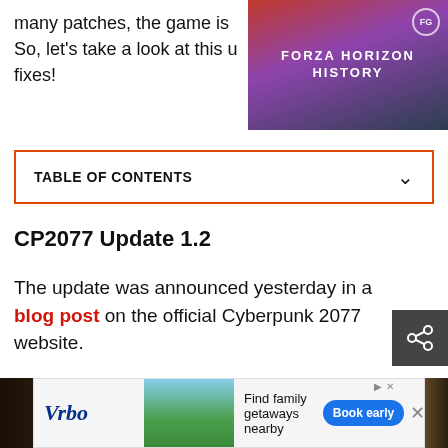many patches, the game is So, let's take a look at this u fixes!
[Figure (screenshot): Forza Horizon History promotional banner with red/purple gradient background and white bold text reading FORZA HORIZON HISTORY, with a car silhouette at bottom right and a small circular FG logo icon top right.]
TABLE OF CONTENTS
CP2077 Update 1.2
The update was announced yesterday in a blog post on the official Cyberpunk 2077 website.
[Figure (photo): Dark brownish/golden horizontal image strip, likely a game screenshot showing a dark scene with warm golden tones in the center.]
[Figure (screenshot): Vrbo advertisement banner showing beach vacation house photo, text 'Find family getaways nearby', and a blue 'Book early' button.]